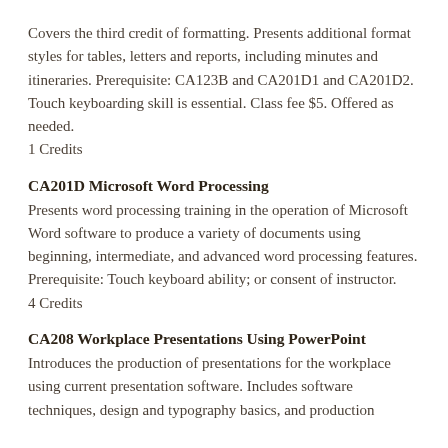Covers the third credit of formatting. Presents additional format styles for tables, letters and reports, including minutes and itineraries. Prerequisite: CA123B and CA201D1 and CA201D2. Touch keyboarding skill is essential. Class fee $5. Offered as needed.
1 Credits
CA201D Microsoft Word Processing
Presents word processing training in the operation of Microsoft Word software to produce a variety of documents using beginning, intermediate, and advanced word processing features. Prerequisite: Touch keyboard ability; or consent of instructor.
4 Credits
CA208 Workplace Presentations Using PowerPoint
Introduces the production of presentations for the workplace using current presentation software. Includes software techniques, design and typography basics, and production